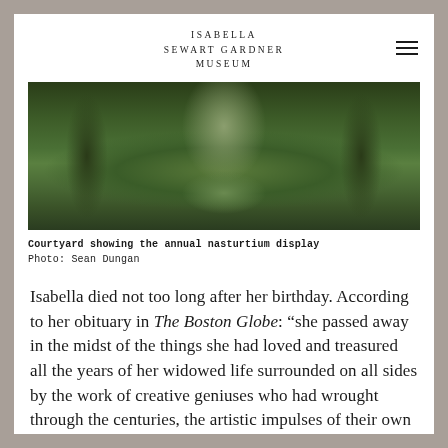ISABELLA SEWART GARDNER MUSEUM
[Figure (photo): Aerial view of the museum courtyard showing lush green garden with ferns, topiaries, columns, statuary, and the annual nasturtium display along the central pathway.]
Courtyard showing the annual nasturtium display
Photo: Sean Dungan
Isabella died not too long after her birthday. According to her obituary in The Boston Globe: “she passed away in the midst of the things she had loved and treasured all the years of her widowed life surrounded on all sides by the work of creative geniuses who had wrought through the centuries, the artistic impulses of their own